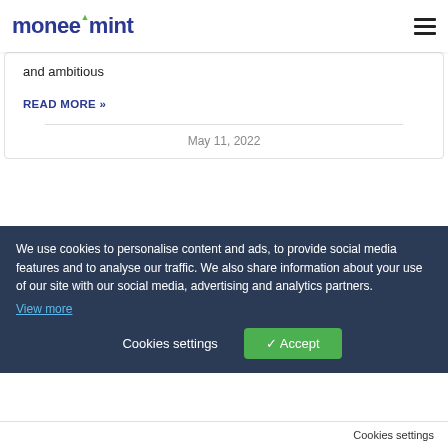moneemint
and ambitious
READ MORE »
May 11, 2022
[Figure (screenshot): Blog section with smartphone app screenshots on dark navy background, with BLOG badge in top right]
We use cookies to personalise content and ads, to provide social media features and to analyse our traffic. We also share information about your use of our site with our social media, advertising and analytics partners.
View more
Cookies settings
✓ Accept
Cookies settings